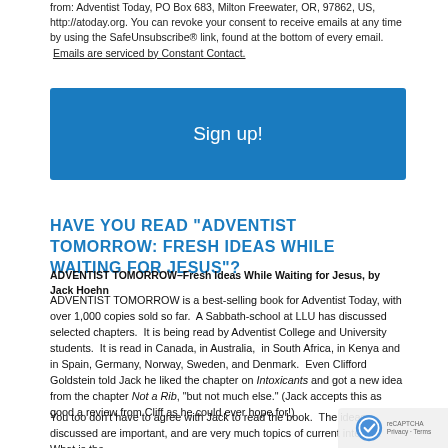from: Adventist Today, PO Box 683, Milton Freewater, OR, 97862, US, http://atoday.org. You can revoke your consent to receive emails at any time by using the SafeUnsubscribe® link, found at the bottom of every email. Emails are serviced by Constant Contact.
[Figure (other): Blue 'Sign up!' button]
HAVE YOU READ "ADVENTIST TOMORROW: FRESH IDEAS WHILE WAITING FOR JESUS"?
ADVENTIST TOMORROW–Fresh Ideas While Waiting for Jesus, by Jack Hoehn
ADVENTIST TOMORROW is a best-selling book for Adventist Today, with over 1,000 copies sold so far. A Sabbath-school at LLU has discussed selected chapters. It is being read by Adventist College and University students. It is read in Canada, in Australia, in South Africa, in Kenya and in Spain, Germany, Norway, Sweden, and Denmark. Even Clifford Goldstein told Jack he liked the chapter on Intoxicants and got a new idea from the chapter Not a Rib, "but not much else." (Jack accepts this as good a review from Cliff as he could ever hope for!)
You too don't have to agree with Jack to read the book. The ideas discussed are important, and are very much topics of current interest. What is the